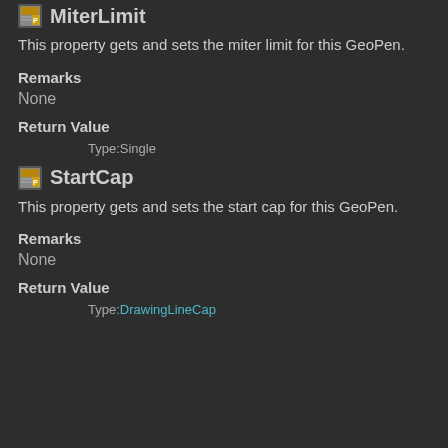MiterLimit
This property gets and sets the miter limit for this GeoPen.
Remarks
None
Return Value
Type:Single
StartCap
This property gets and sets the start cap for this GeoPen.
Remarks
None
Return Value
Type:DrawingLineCap